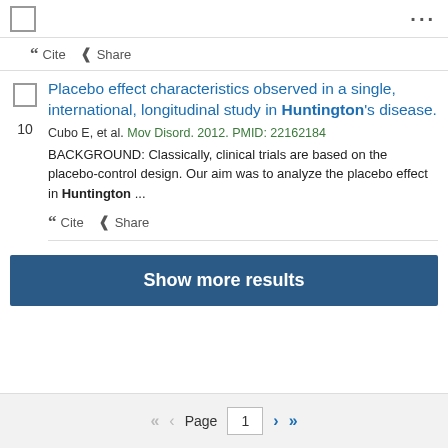... (menu icons)
" Cite  < Share
Placebo effect characteristics observed in a single, international, longitudinal study in Huntington's disease.
10
Cubo E, et al. Mov Disord. 2012. PMID: 22162184
BACKGROUND: Classically, clinical trials are based on the placebo-control design. Our aim was to analyze the placebo effect in Huntington ...
" Cite  < Share
Show more results
<< < Page 1 > >>